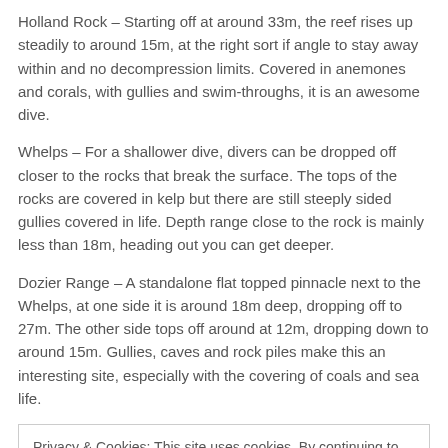Holland Rock – Starting off at around 33m, the reef rises up steadily to around 15m, at the right sort if angle to stay away within and no decompression limits. Covered in anemones and corals, with gullies and swim-throughs, it is an awesome dive.
Whelps – For a shallower dive, divers can be dropped off closer to the rocks that break the surface. The tops of the rocks are covered in kelp but there are still steeply sided gullies covered in life. Depth range close to the rock is mainly less than 18m, heading out you can get deeper.
Dozier Range – A standalone flat topped pinnacle next to the Whelps, at one side it is around 18m deep, dropping off to 27m. The other side tops off around at 12m, dropping down to around 15m. Gullies, caves and rock piles make this an interesting site, especially with the covering of coals and sea life.
Privacy & Cookies: This site uses cookies. By continuing to use this website, you agree to their use.
To find out more, including how to control cookies, see here: Cookie Policy
Close and accept
WHAT WE OFFER